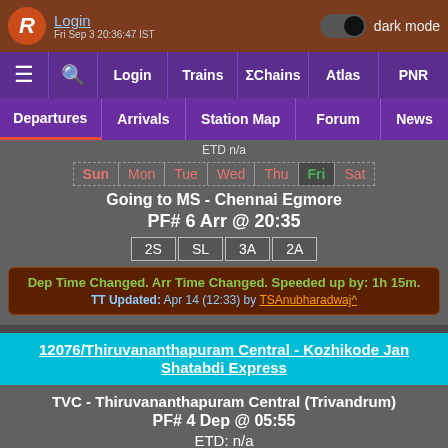Login | dark mode toggle | Fri Sep 3 20:36:47 IST
≡ 🔍 Login | Trains | ΣChains | Atlas | PNR
Departures | Arrivals | Station Map | Forum | News
ETD n/a
Sun Mon Tue Wed Thu Fri Sat
Going to MS - Chennai Egmore
PF# 6 Arr @ 20:35
2S  SL  3A  2A
Dep Time Changed. Arr Time Changed. Speeded up by: 1h 15m.
TT Updated: Apr 14 (12:33) by TSAnubharadwaj^
12076/Thiruvananthapuram Central - Kozhikode Jan Shatabdi Express
TVC - Thiruvananthapuram Central (Trivandrum)
PF# 4 Dep @ 05:55
ETD: n/a
Sun Mon Tue Wed Thu Fri Sat
Going to CLT - Kozhikode Main (Calicut)